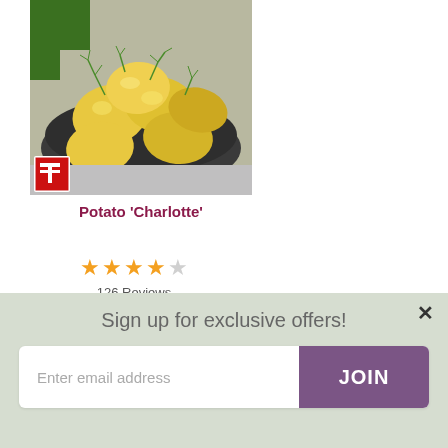[Figure (photo): Photo of cooked new potatoes garnished with fresh dill in a dark bowl, with green herbs in the background. A red/white logo badge is in the bottom-left corner of the image.]
Potato 'Charlotte'
[Figure (other): 4 out of 5 filled orange stars rating display with '126 Reviews' text below]
Sign up for exclusive offers!
Enter email address
JOIN